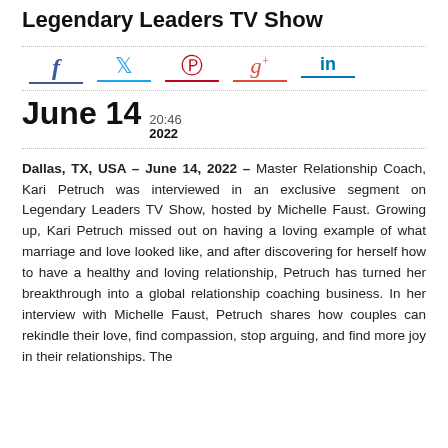Legendary Leaders TV Show
June 14 20:46 2022
Dallas, TX, USA – June 14, 2022 – Master Relationship Coach, Kari Petruch was interviewed in an exclusive segment on Legendary Leaders TV Show, hosted by Michelle Faust. Growing up, Kari Petruch missed out on having a loving example of what marriage and love looked like, and after discovering for herself how to have a healthy and loving relationship, Petruch has turned her breakthrough into a global relationship coaching business. In her interview with Michelle Faust, Petruch shares how couples can rekindle their love, find compassion, stop arguing, and find more joy in their relationships. The